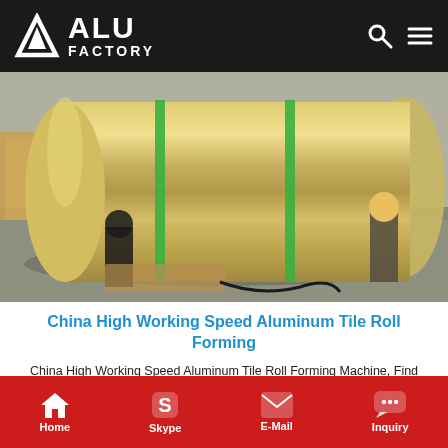ALU FACTORY
[Figure (photo): Large aluminum coil roll bundled with green straps, two workers visible in background of industrial warehouse]
China High Working Speed Aluminum Tile Roll Forming
China High Working Speed Aluminum Tile Roll Forming Machine, Find details about China Tile Forming Machine, Roll Forming Machine from High Working Speed Aluminum Tile Roll Forming Machine - Hangzhou Zhongyuan Machinery Factory
Home  Skype  E-Mail  Inquiry